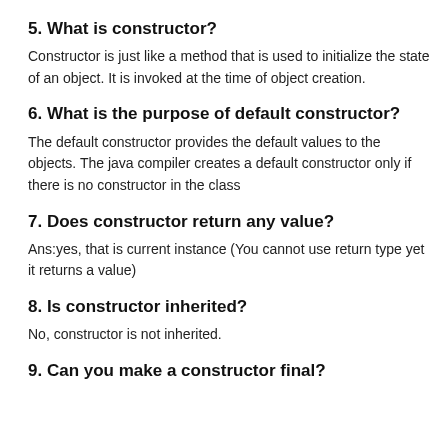5. What is constructor?
Constructor is just like a method that is used to initialize the state of an object. It is invoked at the time of object creation.
6. What is the purpose of default constructor?
The default constructor provides the default values to the objects. The java compiler creates a default constructor only if there is no constructor in the class
7. Does constructor return any value?
Ans:yes, that is current instance (You cannot use return type yet it returns a value)
8. Is constructor inherited?
No, constructor is not inherited.
9. Can you make a constructor final?